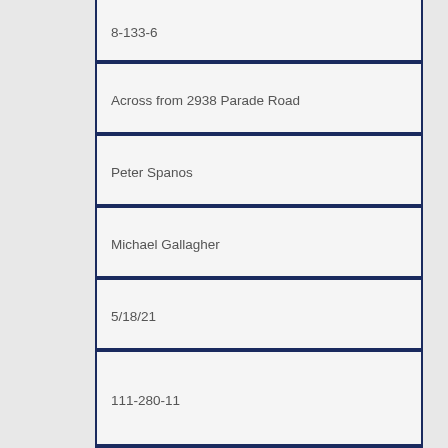8-133-6
Across from 2938 Parade Road
Peter Spanos
Michael Gallagher
5/18/21
111-280-11
890 Watson Road